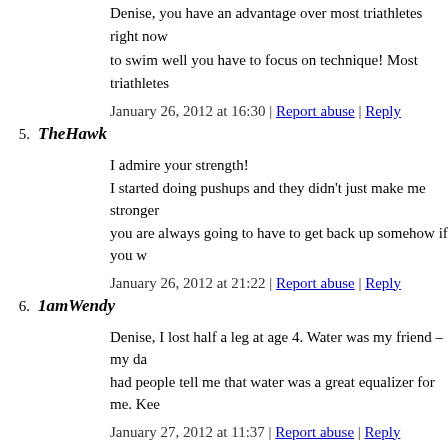Denise, you have an advantage over most triathletes right now to swim well you have to focus on technique! Most triathletes
January 26, 2012 at 16:30 | Report abuse | Reply
5. TheHawk
I admire your strength!
I started doing pushups and they didn't just make me stronger
you are always going to have to get back up somehow if you w
January 26, 2012 at 21:22 | Report abuse | Reply
6. 1amWendy
Denise, I lost half a leg at age 4. Water was my friend – my da had people tell me that water was a great equalizer for me. Kee
January 27, 2012 at 11:37 | Report abuse | Reply
◦ Denise
Wendy, thank you! I hope to someday feel like an otter, success stories of fellow amputees makes me smile.
January 28, 2012 at 17:02 | Report abuse |
7. Rick Morris
Denise, you can do it! I'm honored to have you as a team mem